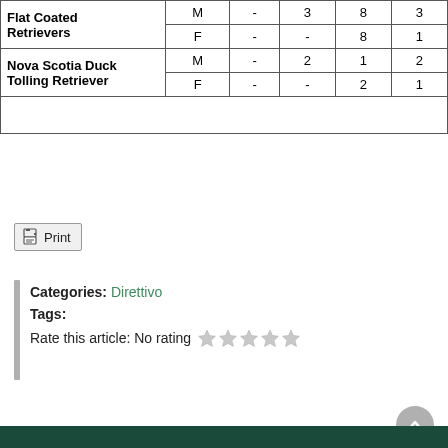| Breed | Sex |  |  |  |  |
| --- | --- | --- | --- | --- | --- |
| Flat Coated Retrievers | M | - | 3 | 8 | 3 |
| Flat Coated Retrievers | F | - | - | 8 | 1 |
| Nova Scotia Duck Tolling Retriever | M | - | 2 | 1 | 2 |
| Nova Scotia Duck Tolling Retriever | F | - | - | 2 | 1 |
Print
Categories: Direttivo
Tags:
Rate this article: No rating ☆☆☆☆☆